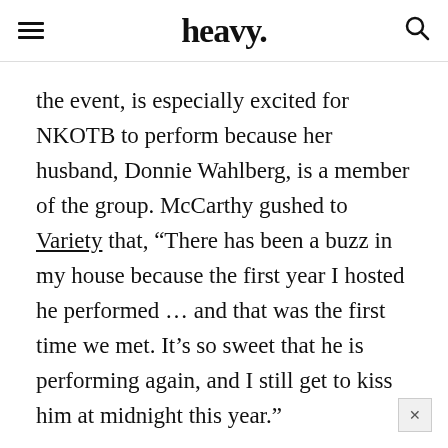heavy.
the event, is especially excited for NKOTB to perform because her husband, Donnie Wahlberg, is a member of the group. McCarthy gushed to Variety that, “There has been a buzz in my house because the first year I hosted he performed … and that was the first time we met. It’s so sweet that he is performing again, and I still get to kiss him at midnight this year.”